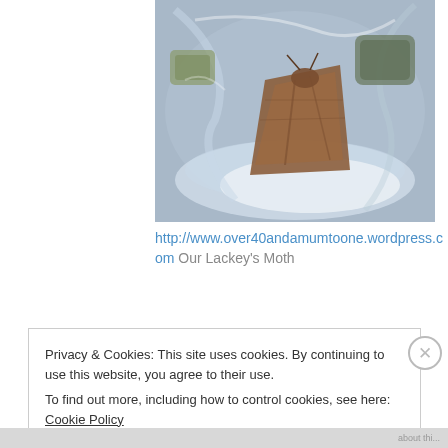[Figure (photo): A close-up photograph of a Lackey's Moth (brown triangular moth) resting inside a clear plastic container, with other insects visible in the background.]
http://www.over40andamumtoone.wordpress.com Our Lackey's Moth
Privacy & Cookies: This site uses cookies. By continuing to use this website, you agree to their use.
To find out more, including how to control cookies, see here: Cookie Policy